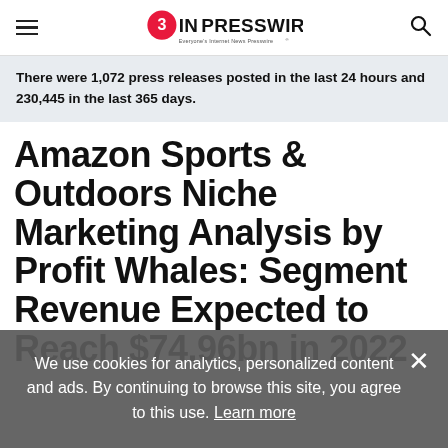EIN PRESSWIRE — Everyone's Internet News Presswire
There were 1,072 press releases posted in the last 24 hours and 230,445 in the last 365 days.
Amazon Sports & Outdoors Niche Marketing Analysis by Profit Whales: Segment Revenue Expected to Reach $74.96bn in 2022
We use cookies for analytics, personalized content and ads. By continuing to browse this site, you agree to this use. Learn more